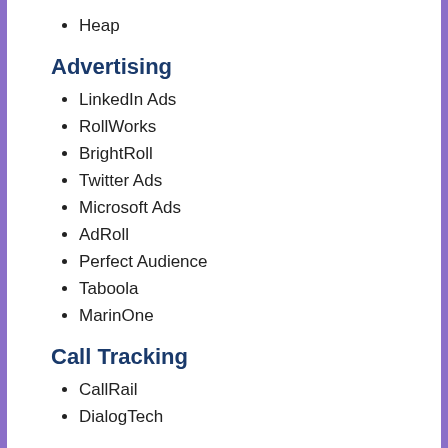Heap
Advertising
LinkedIn Ads
RollWorks
BrightRoll
Twitter Ads
Microsoft Ads
AdRoll
Perfect Audience
Taboola
MarinOne
Call Tracking
CallRail
DialogTech